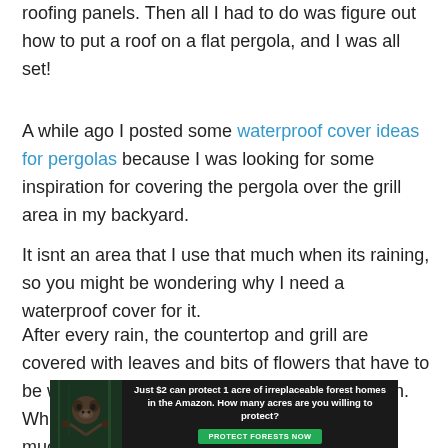roofing panels. Then all I had to do was figure out how to put a roof on a flat pergola, and I was all set!
A while ago I posted some waterproof cover ideas for pergolas because I was looking for some inspiration for covering the pergola over the grill area in my backyard.
It isnt an area that I use that much when its raining, so you might be wondering why I need a waterproof cover for it.
After every rain, the countertop and grill are covered with leaves and bits of flowers that have to be washed off before you can use the grill again. Which makes me not want to use the grill that much
[Figure (other): Advertisement banner: dark background with sloth image on left, text reading 'Just $2 can protect 1 acre of irreplaceable forest homes in the Amazon. How many acres are you willing to protect?' with a green 'PROTECT FORESTS NOW' button.]